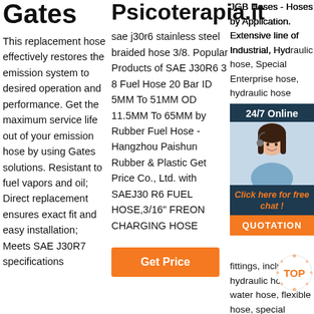Gates
This replacement hose effectively restores the emission system to desired operation and performance. Get the maximum service life out of your emission hose by using Gates solutions. Resistant to fuel vapors and oil; Direct replacement ensures exact fit and easy installation; Meets SAE J30R7 specifications
Psicoterapia.it
sae j30r6 stainless steel braided hose 3/8. Popular Products of SAE J30R6 3 8 Fuel Hose 20 Bar ID 5MM To 51MM OD 11.5MM To 65MM by Rubber Fuel Hose - Hangzhou Paishun Rubber & Plastic Get Price Co., Ltd. with SAEJ30 R6 FUEL HOSE,3/16" FREON CHARGING HOSE
[Figure (screenshot): Get Price orange button]
JGB Hoses - Hoses by Application. Extensive line of Industrial, Hydraulic hose, Special Enterprise hose, hydraulic hose assembly, application assembly, specialty fittings, including hydraulic hose, water hose, flexible hose, special application hose, and braided hose
[Figure (screenshot): 24/7 Online chat popup with agent photo, Click here for free chat link, and QUOTATION button]